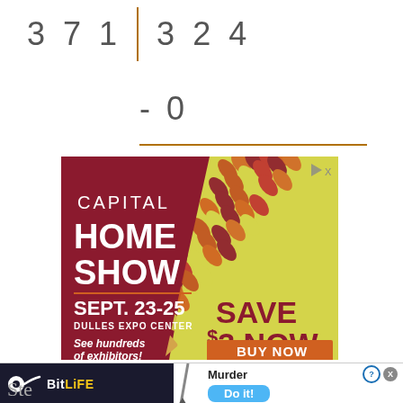[Figure (infographic): Capital Home Show advertisement: dark red background with diagonal yellow section and decorative leaf pattern. Text: CAPITAL HOME SHOW, SEPT. 23-25, DULLES EXPO CENTER, See hundreds of exhibitors!, SAVE $3 NOW, BUY NOW button. Small DX ad indicator in top right.]
[Figure (infographic): BitLife mobile game advertisement: dark background with yellow BitLife logo text, pencil/knife graphic, Murder prompt, Do it! button in blue.]
Ste